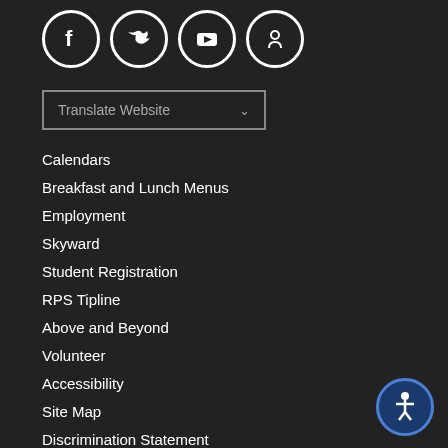[Figure (illustration): Social media icons in white circles on dark background: Facebook, Twitter, YouTube, and a fourth icon]
Translate Website
Calendars
Breakfast and Lunch Menus
Employment
Skyward
Student Registration
RPS Tipline
Above and Beyond
Volunteer
Accessibility
Site Map
Discrimination Statement
Get Involved
[Figure (illustration): Accessibility button icon (person figure in circle) in bottom right corner]